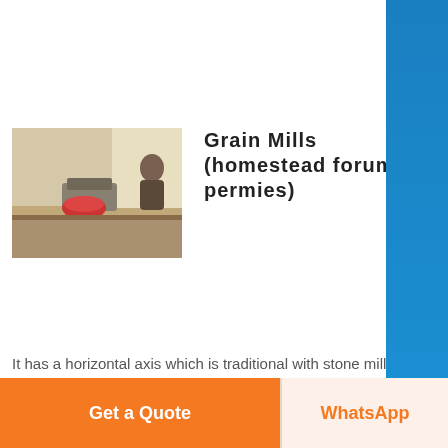Know More
Grain Mills (homestead forum at permies)
[Figure (photo): Photo of a grain mill on a table, person visible in background]
It has a horizontal axis which is traditional with stone mills It is the only one for home use that I know of which is horizontal This makes is easier to crank as there's no low and high (fast and slow) in the rotation The mill is from France and is called "Samap" It is sold in many online stor Not sure about bricks and mortar...
Know More